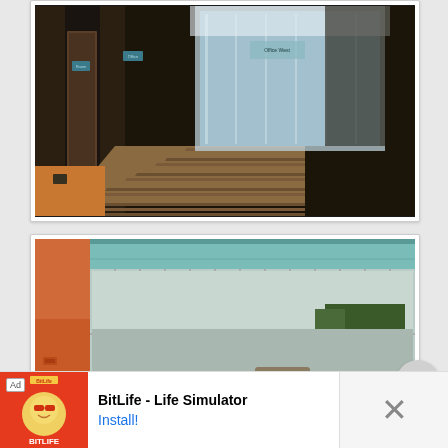[Figure (photo): Interior corridor/hallway of a modern building with dark wood paneling, doors with plaques, and a striped carpeted floor leading to a glass partition area with blue-tinted light]
[Figure (photo): Indoor swimming pool area with teal/blue ceiling, large floor-to-ceiling glass windows overlooking an outdoor parking area and trees, with orange-painted lower walls]
[Figure (screenshot): Advertisement banner for BitLife - Life Simulator app. Shows red background with game logo, cartoon character icon, app name text, and an Install! call-to-action link in blue. Has Ad label and X close button.]